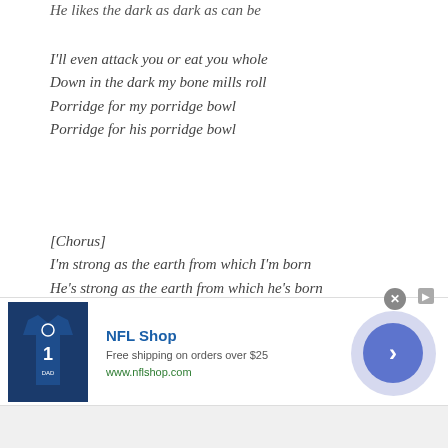He likes the dark as dark as can be
I'll even attack you or eat you whole
Down in the dark my bone mills roll
Porridge for my porridge bowl
Porridge for his porridge bowl
[Chorus]
I'm strong as the earth from which I'm born
He's strong as the earth from which he's born
I can't dream well because of my horns
He can't dream well because of his horns
[Figure (other): NFL Shop advertisement banner with jersey image, text 'NFL Shop, Free shipping on orders over $25, www.nflshop.com', and a blue circular play button]